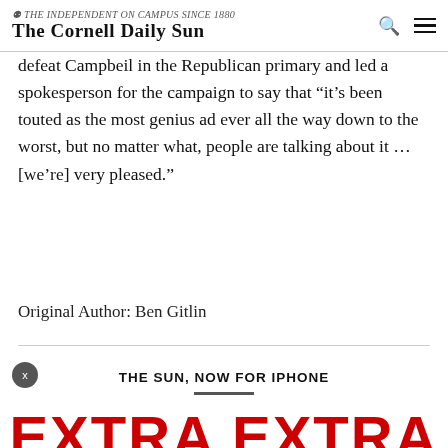The Cornell Daily Sun
defeat Campbeil in the Republican primary and led a spokesperson for the campaign to say that “it’s been touted as the most genius ad ever all the way down to the worst, but no matter what, people are talking about it … [we’re] very pleased.”
Original Author: Ben Gitlin
THE SUN, NOW FOR IPHONE
EXTRA EXTRA